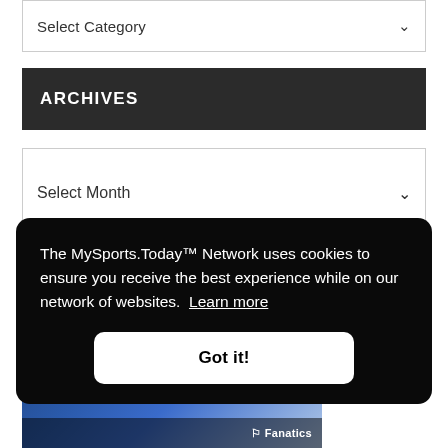Select Category
ARCHIVES
Select Month
[Figure (photo): Colorado Avalanche banner advertisement with team logo on blue ice background, Fanatics branding at bottom]
The MySports.Today™ Network uses cookies to ensure you receive the best experience while on our network of websites. Learn more
Got it!